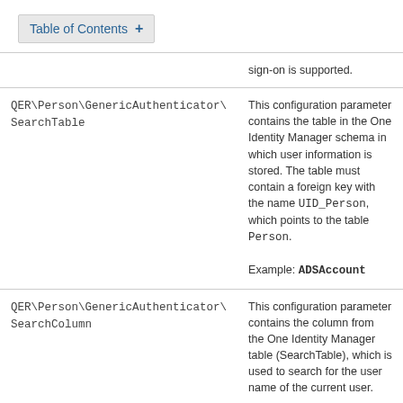Table of Contents +
| Parameter | Description |
| --- | --- |
|  | sign-on is supported. |
| QER\Person\GenericAuthenticator\SearchTable | This configuration parameter contains the table in the One Identity Manager schema in which user information is stored. The table must contain a foreign key with the name UID_Person, which points to the table Person.

Example: ADSAccount |
| QER\Person\GenericAuthenticator\SearchColumn | This configuration parameter contains the column from the One Identity Manager table (SearchTable), which is used to search for the user name of the current user.

Example: CN |